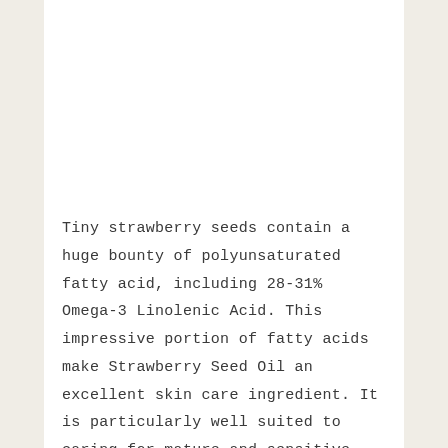Tiny strawberry seeds contain a huge bounty of polyunsaturated fatty acid, including 28-31% Omega-3 Linolenic Acid. This impressive portion of fatty acids make Strawberry Seed Oil an excellent skin care ingredient. It is particularly well suited to caring for mature and sensitive skin types, and makes it a perfect main ingredient in restorative facial serums.